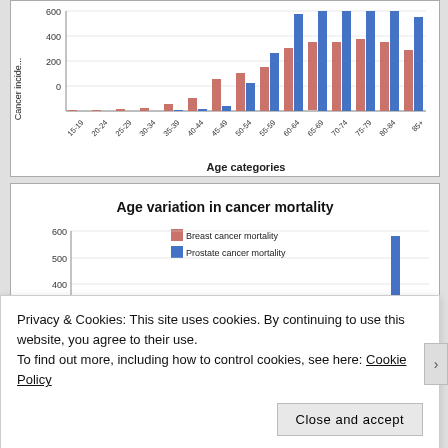[Figure (grouped-bar-chart): Age variation in cancer incidence (top, partial)]
[Figure (grouped-bar-chart): Age variation in cancer mortality]
Privacy & Cookies: This site uses cookies. By continuing to use this website, you agree to their use. To find out more, including how to control cookies, see here: Cookie Policy